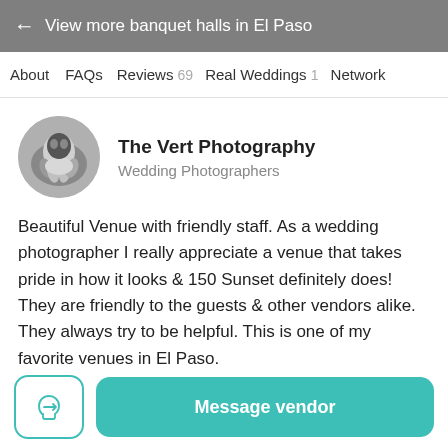← View more banquet halls in El Paso
About   FAQs   Reviews 69   Real Weddings 1   Network
[Figure (photo): Circular avatar photo of a wedding photographer, black and white image showing hands]
The Vert Photography
Wedding Photographers
Beautiful Venue with friendly staff. As a wedding photographer I really appreciate a venue that takes pride in how it looks & 150 Sunset definitely does! They are friendly to the guests & other vendors alike. They always try to be helpful. This is one of my favorite venues in El Paso.
Message vendor